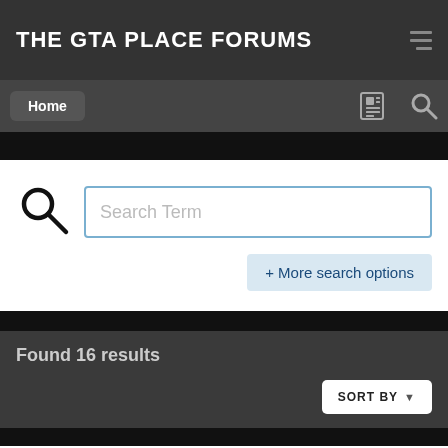THE GTA PLACE FORUMS
Home
Search Term
+ More search options
Found 16 results
SORT BY